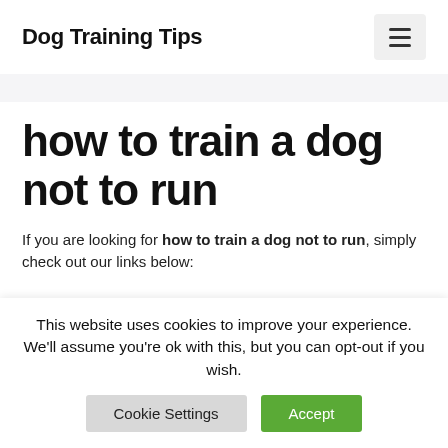Dog Training Tips
how to train a dog not to run
If you are looking for how to train a dog not to run, simply check out our links below:
This website uses cookies to improve your experience. We'll assume you're ok with this, but you can opt-out if you wish.